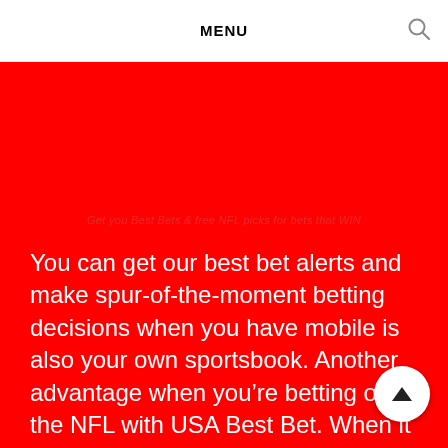MENU
Get you Best Bets & free NFL picks for bets that WIN
You can get our best bet alerts and make spur-of-the-moment betting decisions when you have mobile is also your own sportsbook. Another advantage when you're betting on the NFL with USA Best Bet. When it comes time to watch your action, you know we have done all the hard work research and deliver all the best NFL bets, picks and parlay directly to your mobile. So relax enjoy the game, or